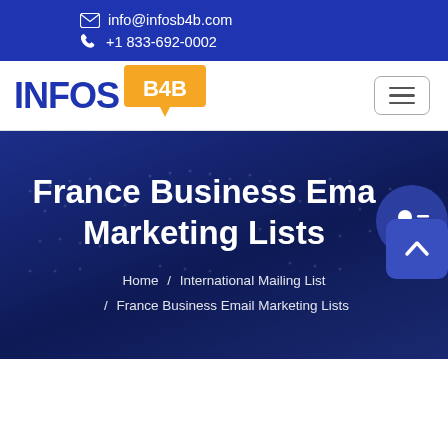✉ info@infosb4b.com  📞 +1 833-692-0002
[Figure (logo): INFOS B4B logo — INFOS in bold blue text, B4B in white text on an orange speech bubble badge]
France Business Email Marketing Lists
Home / International Mailing List / France Business Email Marketing Lists